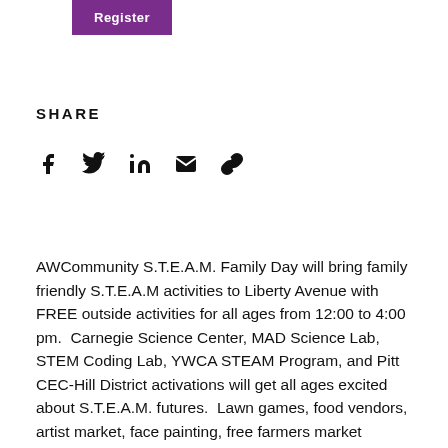[Figure (other): Purple Register button]
SHARE
[Figure (infographic): Social sharing icons: Facebook, Twitter, LinkedIn, Email, Link]
AWCommunity S.T.E.A.M. Family Day will bring family friendly S.T.E.A.M activities to Liberty Avenue with FREE outside activities for all ages from 12:00 to 4:00 pm.  Carnegie Science Center, MAD Science Lab, STEM Coding Lab, YWCA STEAM Program, and Pitt CEC-Hill District activations will get all ages excited about S.T.E.A.M. futures.  Lawn games, food vendors, artist market, face painting, free farmers market provided by Black Urban Gardeners B.U.G.*, sweet treats by Cobbler World, coffee pop up by ADDA coffee, and free S.T.E.A.M. themed book for each child in partnership with White Whale Bookstore. *while supplies last.  Come enjoy a day of free family fun and learning at the August Wilson African American Cultural Center with performances by